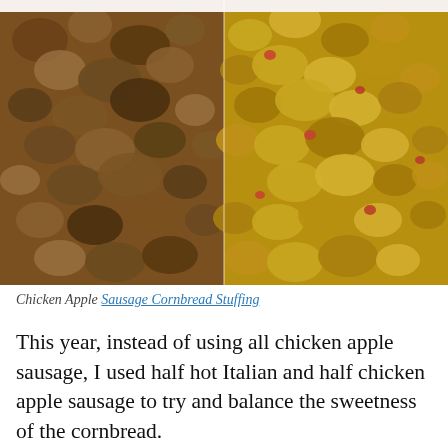[Figure (photo): Two food photos side by side: left shows cooked crumbled sausage (browned ground meat), right shows cornbread stuffing mixture with visible yellow cornbread crumbles, red bits, and other ingredients.]
Chicken Apple Sausage Cornbread Stuffing
This year, instead of using all chicken apple sausage, I used half hot Italian and half chicken apple sausage to try and balance the sweetness of the cornbread.
Privacy & Cookies: This site uses cookies. By continuing to use this website, you agree to their use.
To find out more, including how to control cookies, see here: Cookie Policy